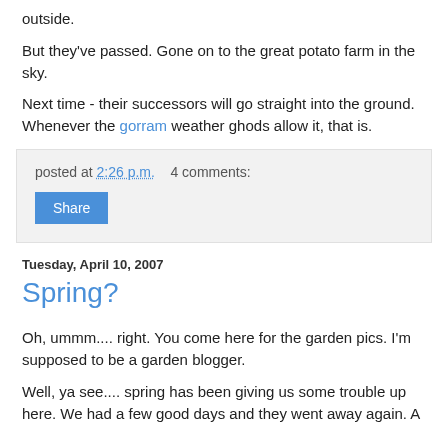outside.
But they've passed. Gone on to the great potato farm in the sky.
Next time - their successors will go straight into the ground. Whenever the gorram weather ghods allow it, that is.
posted at 2:26 p.m.    4 comments:
Share
Tuesday, April 10, 2007
Spring?
Oh, ummm.... right. You come here for the garden pics. I'm supposed to be a garden blogger.
Well, ya see.... spring has been giving us some trouble up here. We had a few good days and they went away again. A